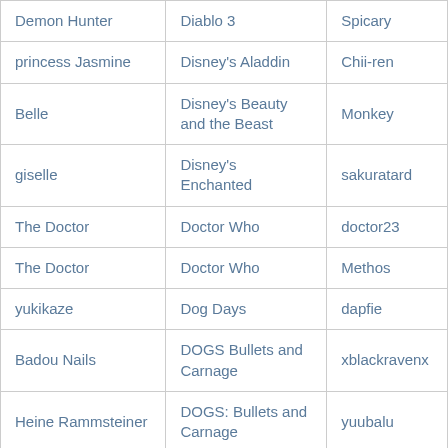| Demon Hunter | Diablo 3 | Spicary |
| princess Jasmine | Disney's Aladdin | Chii-ren |
| Belle | Disney's Beauty and the Beast | Monkey |
| giselle | Disney's Enchanted | sakuratard |
| The Doctor | Doctor Who | doctor23 |
| The Doctor | Doctor Who | Methos |
| yukikaze | Dog Days | dapfie |
| Badou Nails | DOGS Bullets and Carnage | xblackravenx |
| Heine Rammsteiner | DOGS: Bullets and Carnage | yuubalu |
| Badou Nails | DOGS: Bullets | Rosiel |